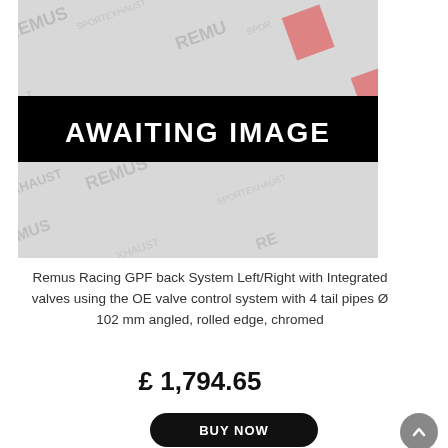[Figure (photo): Remus Sport Exhaust watermark placeholder image with black banner reading AWAITING IMAGE]
Remus Racing GPF back System Left/Right with Integrated valves using the OE valve control system with 4 tail pipes Ø 102 mm angled, rolled edge, chromed
£ 1,794.65
BUY NOW